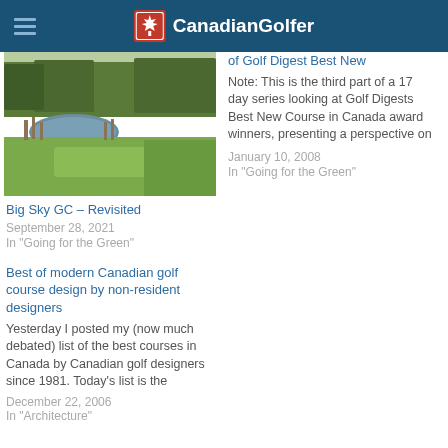Canadian Golfer
[Figure (photo): Golf course photo showing green fairway, pond, and trees]
Big Sky GC – Revisited
September 28, 2021
In "Going for the Green"
... Day Three of 17 Days of Golf Digest Best New
Note: This is the third part of a 17 day series looking at Golf Digests Best New Course in Canada award winners, presenting a perspective on
January 10, 2008
In "Going for the Green"
Best of modern Canadian golf course design by non-resident designers
Yesterday I posted my (now much debated) list of the best courses in Canada by Canadian golf designers since 1981. Today's list is the
December 22, 2006
In "Architecture"